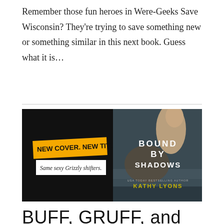Remember those fun heroes in Were-Geeks Save Wisconsin? They're trying to save something new or something similar in this next book. Guess what it is…
[Figure (illustration): Book banner for 'Bound by Shadows' by Kathy Lyons. Left half: black background with yellow banner reading 'NEW COVER. NEW TITLE.' and white banner below reading 'Same sexy Grizzly shifters.' Right half: book cover showing man with bear, title 'BOUND BY SHADOWS', author 'KATHY LYONS', subtitle 'USA TODAY BESTSELLING AUTHOR'.]
BUFF, GRUFF, and GENTLE